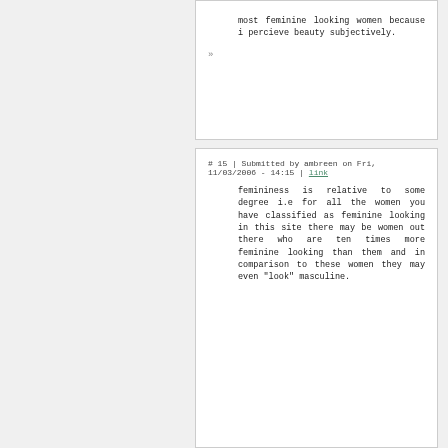most feminine looking women because i percieve beauty subjectively.
»
# 15 | Submitted by ambreen on Fri, 11/03/2006 - 14:15 | link
femininess is relative to some degree i.e for all the women you have classified as feminine looking in this site there may be women out there who are ten times more feminine looking than them and in comparison to these women they may even "look" masculine.